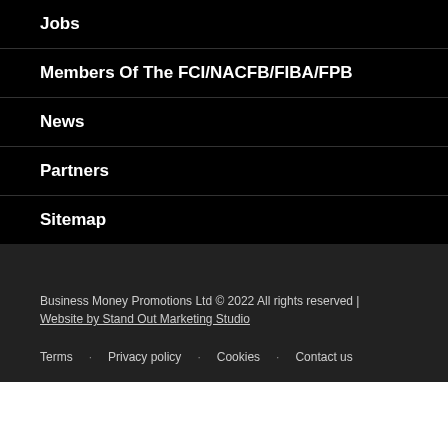Jobs
Members Of The FCI/NACFB/FIBA/FPB
News
Partners
Sitemap
Business Money Promotions Ltd © 2022 All rights reserved | Website by Stand Out Marketing Studio
Terms   Privacy policy   Cookies   Contact us